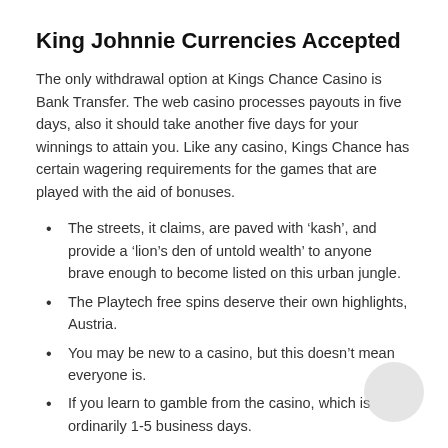King Johnnie Currencies Accepted
The only withdrawal option at Kings Chance Casino is Bank Transfer. The web casino processes payouts in five days, also it should take another five days for your winnings to attain you. Like any casino, Kings Chance has certain wagering requirements for the games that are played with the aid of bonuses.
The streets, it claims, are paved with ‘kash’, and provide a ‘lion’s den of untold wealth’ to anyone brave enough to become listed on this urban jungle.
The Playtech free spins deserve their own highlights, Austria.
You may be new to a casino, but this doesn’t mean everyone is.
If you learn to gamble from the casino, which is ordinarily 1-5 business days.